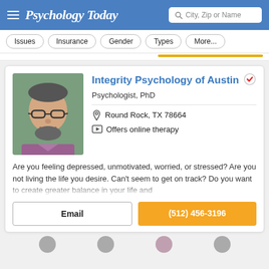Psychology Today
Issues
Insurance
Gender
Types
More...
Integrity Psychology of Austin
Psychologist, PhD
Round Rock, TX 78664
Offers online therapy
Are you feeling depressed, unmotivated, worried, or stressed? Are you not living the life you desire. Can't seem to get on track? Do you want to create greater balance in your life and
Email
(512) 456-3196